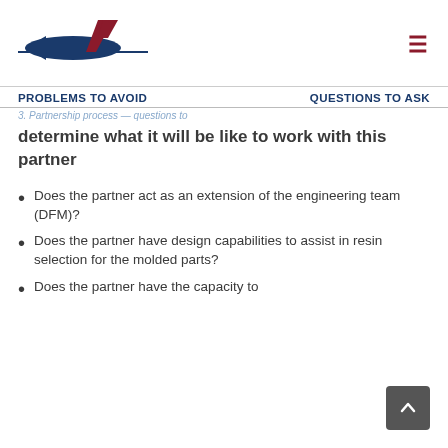[Figure (logo): Company logo with blue arrow/plane shape and red accent, horizontal blue line underneath]
PROBLEMS TO AVOID    QUESTIONS TO ASK
3. Partnership process — questions to determine what it will be like to work with this partner
3. Partnership process — questions to determine what it will be like to work with this partner
Does the partner act as an extension of the engineering team (DFM)?
Does the partner have design capabilities to assist in resin selection for the molded parts?
Does the partner have the capacity to